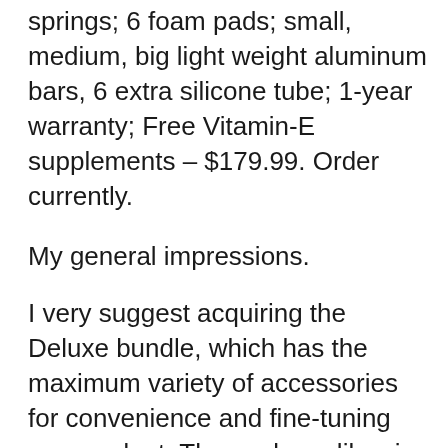springs; 6 foam pads; small, medium, big light weight aluminum bars, 6 extra silicone tube; 1-year warranty; Free Vitamin-E supplements – $179.99. Order currently.
My general impressions.
I very suggest acquiring the Deluxe bundle, which has the maximum variety of accessories for convenience and fine-tuning your gadget. The package likewise includes a penis pump that can be utilized for a range of regimens, and the extender itself is available in a wood box.
My outcomes with Quick Extender Pro.
...